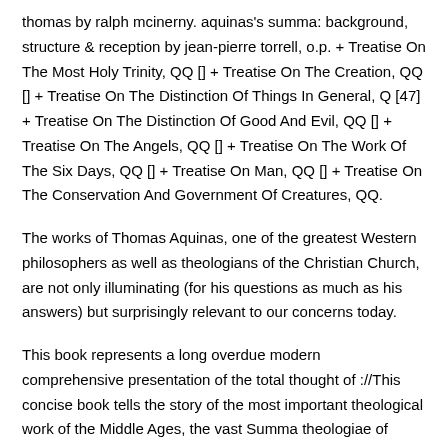thomas by ralph mcinerny. aquinas's summa: background, structure & reception by jean-pierre torrell, o.p. + Treatise On The Most Holy Trinity, QQ [] + Treatise On The Creation, QQ [] + Treatise On The Distinction Of Things In General, Q [47] + Treatise On The Distinction Of Good And Evil, QQ [] + Treatise On The Angels, QQ [] + Treatise On The Work Of The Six Days, QQ [] + Treatise On Man, QQ [] + Treatise On The Conservation And Government Of Creatures, QQ.
The works of Thomas Aquinas, one of the greatest Western philosophers as well as theologians of the Christian Church, are not only illuminating (for his questions as much as his answers) but surprisingly relevant to our concerns today.
This book represents a long overdue modern comprehensive presentation of the total thought of ://This concise book tells the story of the most important theological work of the Middle Ages, the vast Summa theologiae of Thomas Aquinas, which holds a unique place in Western religion and philosophy.
Written between andthe Summa was conceived by Aquinas as an